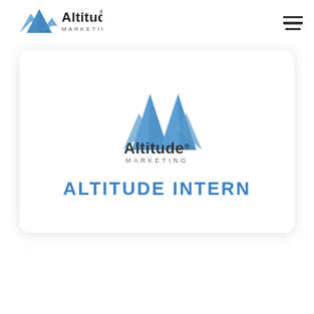[Figure (logo): Altitude Marketing logo in the navigation bar — mountain peaks icon in blue with 'Altitude MARKETING' text in dark]
[Figure (other): Hamburger menu icon (three horizontal lines) in top right corner]
[Figure (logo): Altitude Marketing logo centered in card — large blue mountain peaks icon with 'Altitude MARKETING' text below]
ALTITUDE INTERN